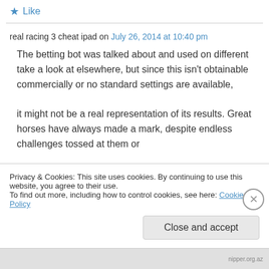★ Like
real racing 3 cheat ipad on July 26, 2014 at 10:40 pm
The betting bot was talked about and used on different take a look at elsewhere, but since this isn't obtainable commercially or no standard settings are available, it might not be a real representation of its results. Great horses have always made a mark, despite endless challenges tossed at them or
Privacy & Cookies: This site uses cookies. By continuing to use this website, you agree to their use. To find out more, including how to control cookies, see here: Cookie Policy
Close and accept